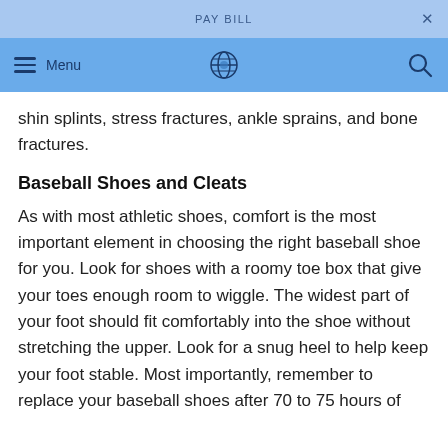PAY BILL
shin splints, stress fractures, ankle sprains, and bone fractures.
Baseball Shoes and Cleats
As with most athletic shoes, comfort is the most important element in choosing the right baseball shoe for you. Look for shoes with a roomy toe box that give your toes enough room to wiggle. The widest part of your foot should fit comfortably into the shoe without stretching the upper. Look for a snug heel to help keep your foot stable. Most importantly, remember to replace your baseball shoes after 70 to 75 hours of